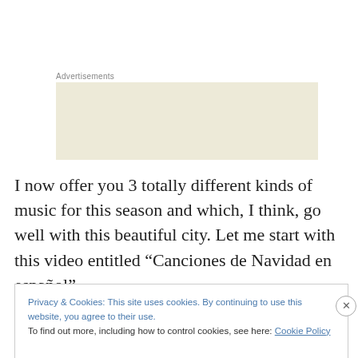Advertisements
[Figure (other): Advertisement banner with beige/cream background showing the word 'Professionally' in large serif font]
I now offer you 3 totally different kinds of music for this season and which, I think, go well with this beautiful city. Let me start with this video entitled “Canciones de Navidad en español”
Privacy & Cookies: This site uses cookies. By continuing to use this website, you agree to their use.
To find out more, including how to control cookies, see here: Cookie Policy